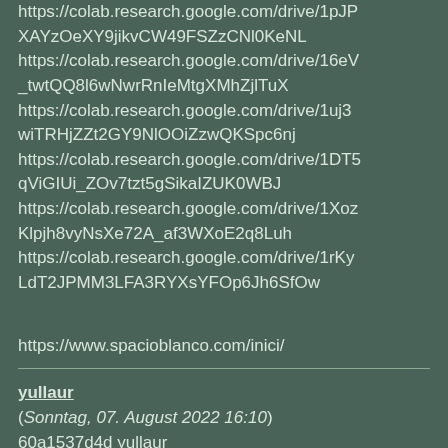https://colab.research.google.com/drive/1pJPXAYzOeXY9jikvCW49FSZzCNl0KeNL https://colab.research.google.com/drive/16eV_twtQQ8l6wNwrRnIeMtgXMhZjlTuX https://colab.research.google.com/drive/1uj3wiTRHjZZt2GY9NlOOiZzwQKSpc6nj https://colab.research.google.com/drive/1DT5qViGIUi_ZOv7tzt5gSikaIZUK0WBJ https://colab.research.google.com/drive/1XozKlpjh8vyNsXe72A_af3WXoE2q8Luh https://colab.research.google.com/drive/1rKyLdT2JPMM3LFA3RYXsYFOp6Jh6SfOw
https://www.spacioblanco.com/inici/
yullaur (Sonntag, 07. August 2022 16:10) 60a1537d4d yullaur https://colab.research.google.com/drive/1r6D0dVbpBOTjMGvTiMjnzY-ITEafdR8b